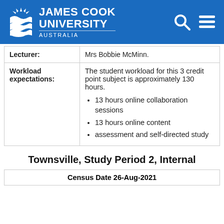[Figure (logo): James Cook University Australia logo with white text and wave/sun icon on blue background, plus search and menu icons]
|  |  |
| --- | --- |
| Lecturer: | Mrs Bobbie McMinn. |
| Workload expectations: | The student workload for this 3 credit point subject is approximately 130 hours.
• 13 hours online collaboration sessions
• 13 hours online content
• assessment and self-directed study |
Townsville, Study Period 2, Internal
| Census Date 26-Aug-2021 |
| --- |
|  |